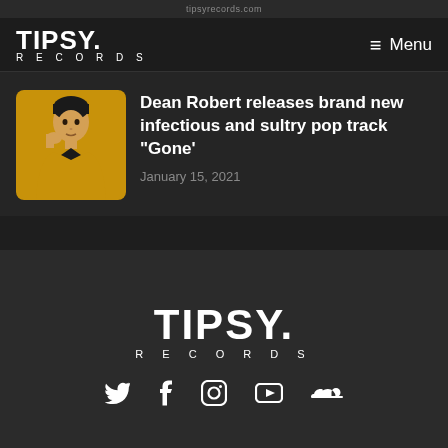TIPSY RECORDS — Menu
Dean Robert releases brand new infectious and sultry pop track “Gone’
January 15, 2021
[Figure (logo): Tipsy Records logo in footer]
[Figure (illustration): Social media icons: Twitter, Facebook, Instagram, YouTube, SoundCloud]
Copyright © 2021 Tipsy Records LLC